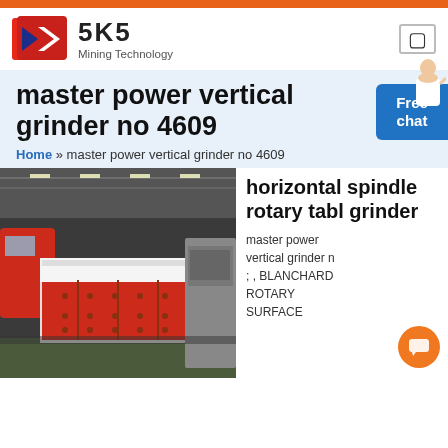SKS Mining Technology
master power vertical grinder no 4609
Home » master power vertical grinder no 4609
[Figure (photo): Industrial factory floor photo showing a large red and white horizontal grinding machine with red panels and bolted covers, with other heavy equipment visible in the background.]
horizontal spindle rotary table grinder
master power vertical grinder no ; , BLANCHARD ROTARY SURFACE